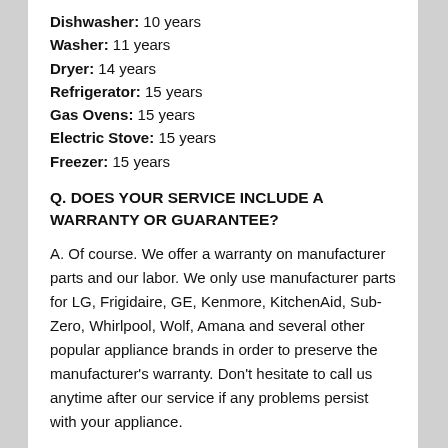Dishwasher: 10 years
Washer: 11 years
Dryer: 14 years
Refrigerator: 15 years
Gas Ovens: 15 years
Electric Stove: 15 years
Freezer: 15 years
Q. DOES YOUR SERVICE INCLUDE A WARRANTY OR GUARANTEE?
A. Of course. We offer a warranty on manufacturer parts and our labor. We only use manufacturer parts for LG, Frigidaire, GE, Kenmore, KitchenAid, Sub-Zero, Whirlpool, Wolf, Amana and several other popular appliance brands in order to preserve the manufacturer's warranty. Don’t hesitate to call us anytime after our service if any problems persist with your appliance.
Q. CAN YOU REPAIR THE BROKEN...